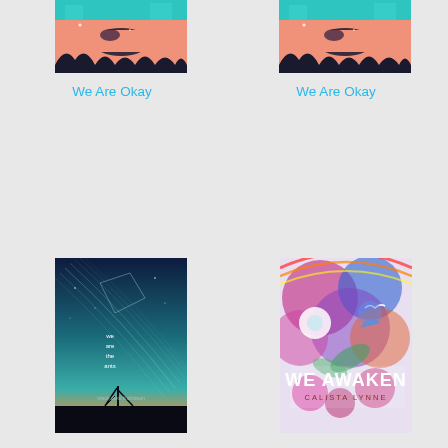[Figure (illustration): Book cover of 'We Are Okay' - top portion showing illustrated figures with pink and teal colors, partial view]
[Figure (illustration): Book cover of 'We Are Okay' - top portion showing illustrated figures with pink and teal colors, partial view (duplicate)]
We Are Okay
We Are Okay
[Figure (illustration): Book cover of 'We Are the Ants' by shaun david hutchinson - dark teal/blue sky with star trails and silhouette skyline]
[Figure (illustration): Book cover of 'We Awaken' by Calista Lynne - colorful floral and nature imagery with bold typography]